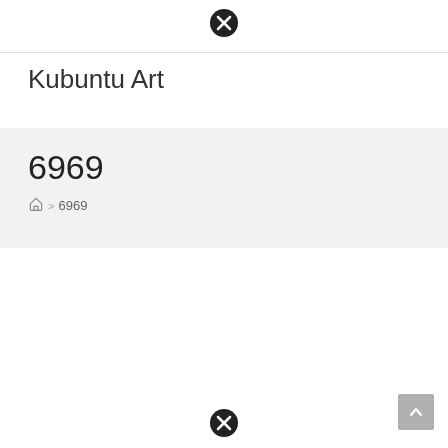close icon
Kubuntu Art
6969
🏠 > 6969
close icon, scroll-to-top button